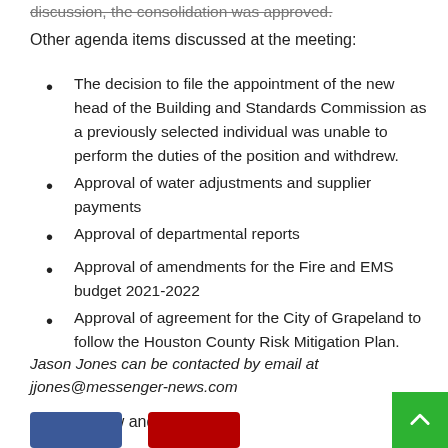discussion, the consolidation was approved.
Other agenda items discussed at the meeting:
The decision to file the appointment of the new head of the Building and Standards Commission as a previously selected individual was unable to perform the duties of the position and withdrew.
Approval of water adjustments and supplier payments
Approval of departmental reports
Approval of amendments for the Fire and EMS budget 2021-2022
Approval of agreement for the City of Grapeland to follow the Houston County Risk Mitigation Plan.
Jason Jones can be contacted by email at jjones@messenger-news.com
Please follow and like us: